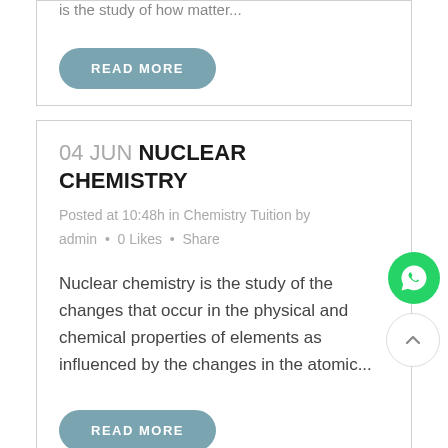is the study of how matter...
READ MORE
04 JUN NUCLEAR CHEMISTRY
Posted at 10:48h in Chemistry Tuition by admin • 0 Likes • Share
Nuclear chemistry is the study of the changes that occur in the physical and chemical properties of elements as influenced by the changes in the atomic...
READ MORE